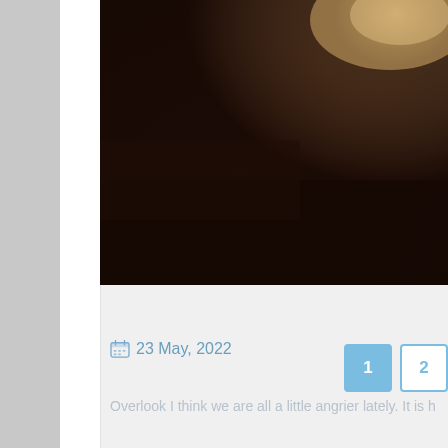[Figure (photo): Dark atmospheric photo of a landscape or forest scene with light rays visible in upper right portion, rendered in dark browns and blacks.]
23 May, 2022
Overlook I think we are all a little angrier lately. It is h
1  2